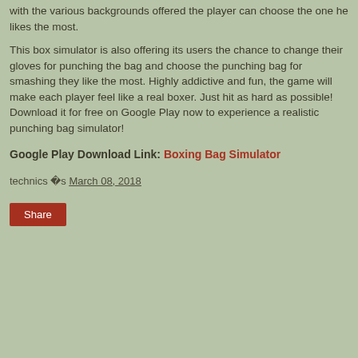with the various backgrounds offered the player can choose the one he likes the most.
This box simulator is also offering its users the chance to change their gloves for punching the bag and choose the punching bag for smashing they like the most. Highly addictive and fun, the game will make each player feel like a real boxer. Just hit as hard as possible! Download it for free on Google Play now to experience a realistic punching bag simulator!
Google Play Download Link: Boxing Bag Simulator
technics �s March 08, 2018
Share